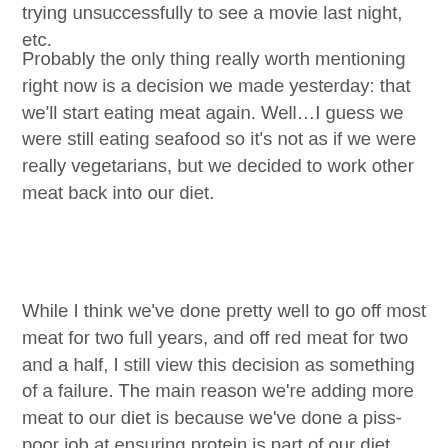trying unsuccessfully to see a movie last night, etc.
Probably the only thing really worth mentioning right now is a decision we made yesterday: that we'll start eating meat again. Well…I guess we were still eating seafood so it's not as if we were really vegetarians, but we decided to work other meat back into our diet.
While I think we've done pretty well to go off most meat for two full years, and off red meat for two and a half, I still view this decision as something of a failure. The main reason we're adding more meat to our diet is because we've done a piss-poor job at ensuring protein is part of our diet. We've also sucked at expanding our usual meal choices over the past couple of years, such that I feel very limited in what I can eat now. I'm not saying that's a valid